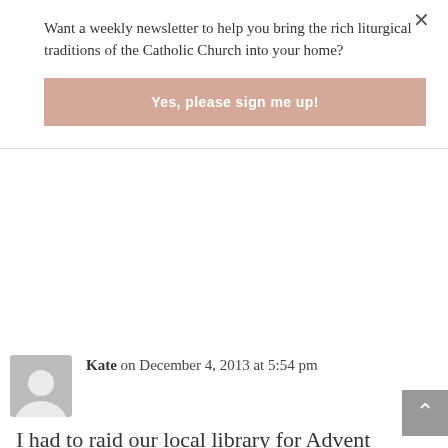Want a weekly newsletter to help you bring the rich liturgical traditions of the Catholic Church into your home?
Yes, please sign me up!
Kate on December 4, 2013 at 5:54 pm
I had to raid our local library for Advent books to wrap up. I had no idea that we only had four Christmas books (which was fine because last year I think we read one the entire Advent!) I spotted the Richard Scarry book on the shelf and that was the first on my